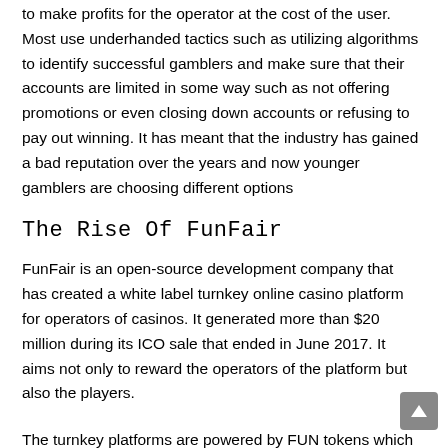to make profits for the operator at the cost of the user. Most use underhanded tactics such as utilizing algorithms to identify successful gamblers and make sure that their accounts are limited in some way such as not offering promotions or even closing down accounts or refusing to pay out winning. It has meant that the industry has gained a bad reputation over the years and now younger gamblers are choosing different options
The Rise Of FunFair
FunFair is an open-source development company that has created a white label turnkey online casino platform for operators of casinos. It generated more than $20 million during its ICO sale that ended in June 2017. It aims not only to reward the operators of the platform but also the players.
The turnkey platforms are powered by FUN tokens which at as the currency and fund the whole ecosystem. They can be purchased using real money options or other cryptos along with